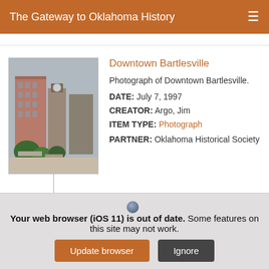The Gateway to Oklahoma History
[Figure (photo): Photograph of Downtown Bartlesville showing multi-story brick buildings and a clock tower with trees and plaza in the foreground]
Downtown Bartlesville
Photograph of Downtown Bartlesville.
DATE: July 7, 1997
CREATOR: Argo, Jim
ITEM TYPE: Photograph
PARTNER: Oklahoma Historical Society
Your web browser (iOS 11) is out of date. Some features on this site may not work.